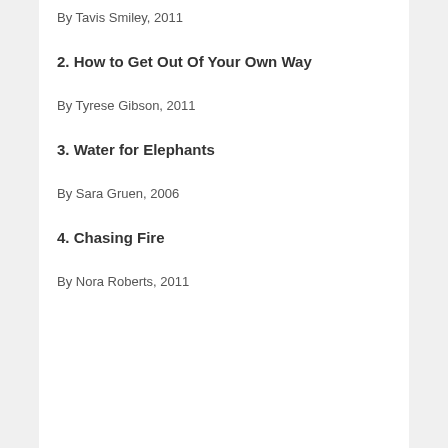By Tavis Smiley, 2011
2. How to Get Out Of Your Own Way
By Tyrese Gibson, 2011
3. Water for Elephants
By Sara Gruen, 2006
4. Chasing Fire
By Nora Roberts, 2011